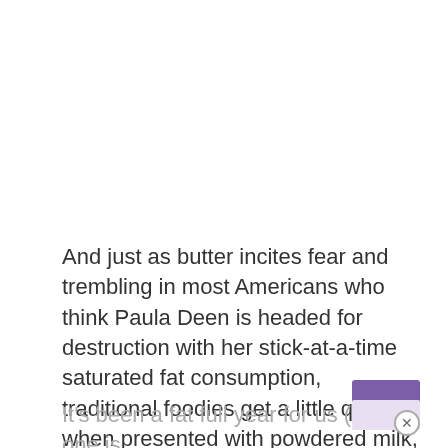And just as butter incites fear and trembling in most Americans who think Paula Deen is headed for destruction with her stick-at-a-time saturated fat consumption, traditional foodies get a little quivery when presented with powdered milk, shortening, or artificial sweeteners.
It's been a fat full year for us (but no one is